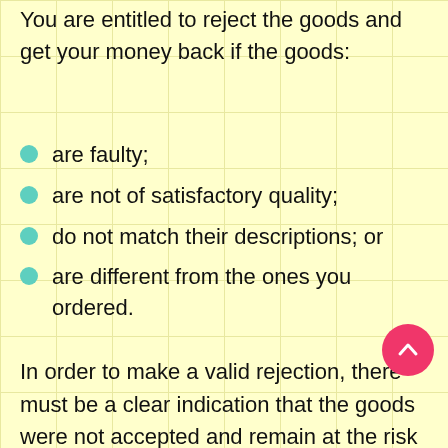You are entitled to reject the goods and get your money back if the goods:
are faulty;
are not of satisfactory quality;
do not match their descriptions; or
are different from the ones you ordered.
In order to make a valid rejection, there must be a clear indication that the goods were not accepted and remain at the risk of the seller (i.e. the buyer takes no responsibility for the goods). You should call the seller immediately, return the goods by yourself, or ask the person who delivered the goods to take